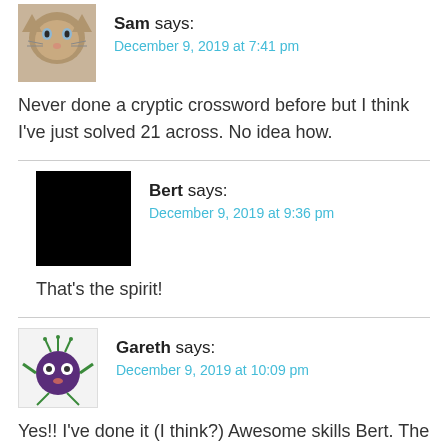[Figure (photo): Cat avatar thumbnail (kitten face)]
Sam says:
December 9, 2019 at 7:41 pm
Never done a cryptic crossword before but I think I've just solved 21 across. No idea how.
[Figure (photo): Black square avatar placeholder for Bert]
Bert says:
December 9, 2019 at 9:36 pm
That's the spirit!
[Figure (illustration): Gareth's avatar: cartoon purple spider/bug character on light background]
Gareth says:
December 9, 2019 at 10:09 pm
Yes!! I've done it (I think?) Awesome skills Bert. The